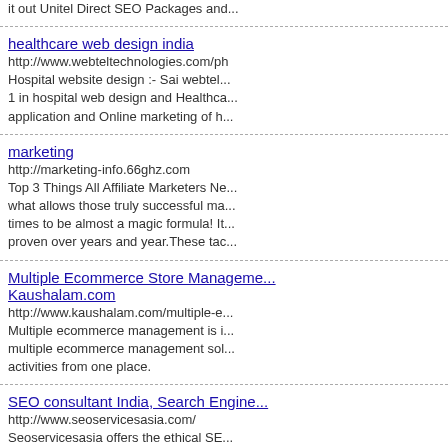it out Unitel Direct SEO Packages and...
healthcare web design india
http://www.webteltechnologies.com/ph
Hospital website design :- Sai webtel... 1 in hospital web design and Healthca... application and Online marketing of h...
marketing
http://marketing-info.66ghz.com
Top 3 Things All Affiliate Marketers Ne... what allows those truly successful ma... times to be almost a magic formula! It... proven over years and year.These tac...
Multiple Ecommerce Store Manageme... Kaushalam.com
http://www.kaushalam.com/multiple-e...
Multiple ecommerce management is i... multiple ecommerce management sol... activities from one place.
SEO consultant India, Search Engine...
http://www.seoservicesasia.com/
Seoservicesasia offers the ethical SE... techniques with internet marketing se... optimization work management.m...